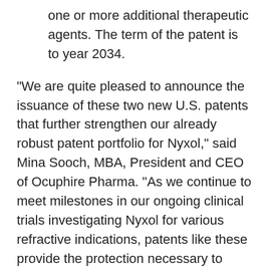one or more additional therapeutic agents. The term of the patent is to year 2034.
“We are quite pleased to announce the issuance of these two new U.S. patents that further strengthen our already robust patent portfolio for Nyxol,” said Mina Sooch, MBA, President and CEO of Ocuphire Pharma. “As we continue to meet milestones in our ongoing clinical trials investigating Nyxol for various refractive indications, patents like these provide the protection necessary to ensure commercial success. Importantly, Ocuphire owns all of the worldwide rights to Nyxol for all indications. These broader and new claims for daily use and